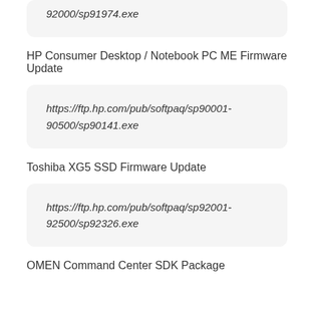92000/sp91974.exe
HP Consumer Desktop / Notebook PC ME Firmware Update
https://ftp.hp.com/pub/softpaq/sp90001-90500/sp90141.exe
Toshiba XG5 SSD Firmware Update
https://ftp.hp.com/pub/softpaq/sp92001-92500/sp92326.exe
OMEN Command Center SDK Package